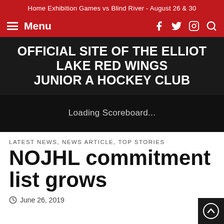Home Exhibition Games vs Blind River - August 26 & 30
Menu
OFFICIAL SITE OF THE ELLIOT LAKE RED WINGS JUNIOR A HOCKEY CLUB
Loading Scoreboard...
LATEST NEWS, NEWS ARTICLE, TOP STORIES
NOJHL commitment list grows
June 26, 2019